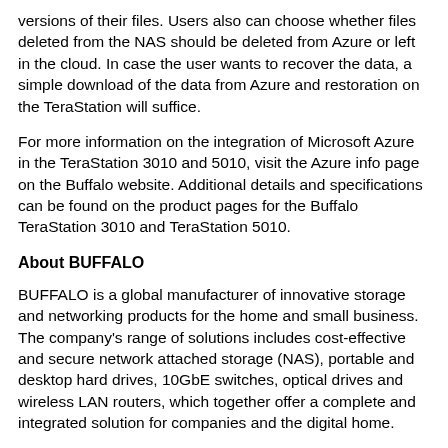versions of their files. Users also can choose whether files deleted from the NAS should be deleted from Azure or left in the cloud. In case the user wants to recover the data, a simple download of the data from Azure and restoration on the TeraStation will suffice.
For more information on the integration of Microsoft Azure in the TeraStation 3010 and 5010, visit the Azure info page on the Buffalo website. Additional details and specifications can be found on the product pages for the Buffalo TeraStation 3010 and TeraStation 5010.
About BUFFALO
BUFFALO is a global manufacturer of innovative storage and networking products for the home and small business. The company's range of solutions includes cost-effective and secure network attached storage (NAS), portable and desktop hard drives, 10GbE switches, optical drives and wireless LAN routers, which together offer a complete and integrated solution for companies and the digital home.
At the core of BUFFALO's product portfolio stand the TeraStation NAS devices which are specifically designed to bring Enterprise storage to the SMB and comprise a wide range of solutions from 2-bay desktop NAS for the home...